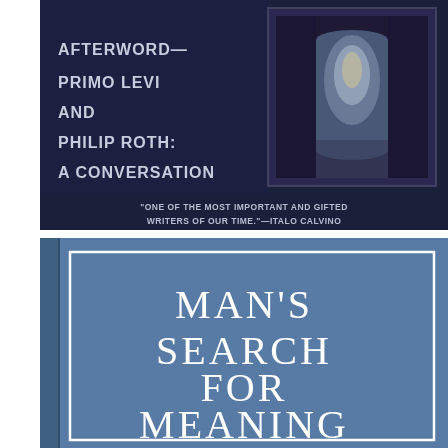[Figure (photo): Book cover 1: Dark navy blue cover with text 'AFTERWORD— PRIMO LEVI AND PHILIP ROTH: A CONVERSATION' on the left side in white/light letters, and a dark atmospheric painting of an archway/tunnel on the right. Bottom text: "ONE OF THE MOST IMPORTANT AND GIFTED WRITERS OF OUR TIME." —ITALO CALVINO]
[Figure (photo): Book cover 2: Blue cloth-textured hardcover book with white border rectangle containing the title 'MAN'S SEARCH FOR MEANING' in large white serif letters]